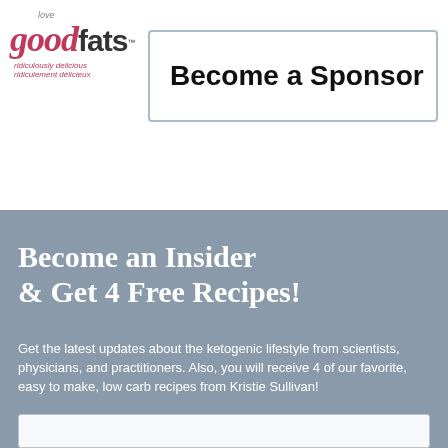[Figure (logo): Love Good Fats brand logo with red script 'good' and bold 'fats' text, tagline 'ridiculously delicious / ridiculement délicieux']
Become a Sponsor
Become an Insider & Get 4 Free Recipes!
Get the latest updates about the ketogenic lifestyle from scientists, physicians, and practitioners. Also, you will receive 4 of our favorite, easy to make, low carb recipes from Kristie Sullivan!
First Name